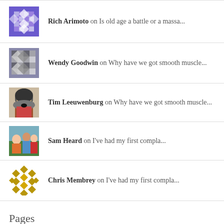Rich Arimoto on Is old age a battle or a massa...
Wendy Goodwin on Why have we got smooth muscle...
Tim Leeuwenburg on Why have we got smooth muscle...
Sam Heard on I've had my first compla...
Chris Membrey on I've had my first compla...
Pages
About